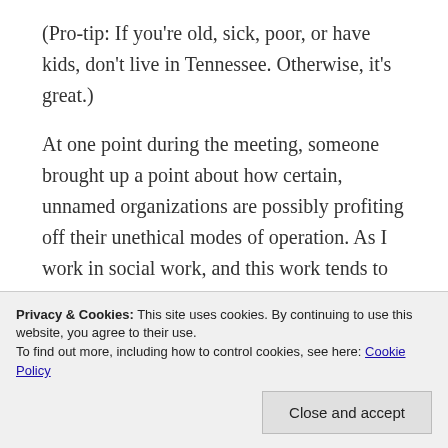(Pro-tip: If you're old, sick, poor, or have kids, don't live in Tennessee. Otherwise, it's great.)
At one point during the meeting, someone brought up a point about how certain, unnamed organizations are possibly profiting off their unethical modes of operation. As I work in social work, and this work tends to attract semi-idealists (the polar opposite of the business world, where, in order to be a success, one must be a douchenozzle), the entire gathered mass expressed their dismay in one way or another.
Privacy & Cookies: This site uses cookies. By continuing to use this website, you agree to their use. To find out more, including how to control cookies, see here: Cookie Policy
I'm tellin ya,"